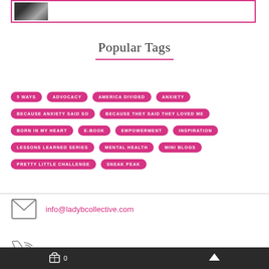[Figure (photo): Small black and white photo in top bordered box]
Popular Tags
5 WAYS
ADVOCACY
AMERICA DIVIDED
ANXIETY
BECAUSE ANXIETY SAID SO
BECAUSE THEY SAID THEY LOVED ME
BORN IN MY HEART
E-BOOK
EMPOWERMENT
INSPIRATION
LESSONS LEARNED SERIES
MENTAL HEALTH
MINI BLOGS
PRETTY LITTLE CHALLENGE
SNEAK PEAK
info@ladybcollective.com
0 (cart) ^ (up arrow)